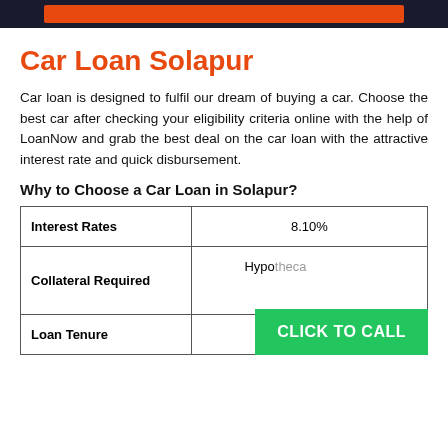[Figure (other): Top banner with dark background and orange/red bar]
Car Loan Solapur
Car loan is designed to fulfil our dream of buying a car. Choose the best car after checking your eligibility criteria online with the help of LoanNow and grab the best deal on the car loan with the attractive interest rate and quick disbursement.
Why to Choose a Car Loan in Solapur?
|  |  |
| --- | --- |
| Interest Rates | 8.10% |
| Collateral Required | Hypothecation of the... |
| Loan Tenure | 1 Yr to 5 Years |